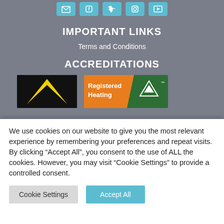[Figure (infographic): Social media icon buttons in teal/blue color arranged in a row at the top]
IMPORTANT LINKS
Terms and Conditions
ACCREDITATIONS
[Figure (logo): Black badge with yellow triangle logo]
[Figure (logo): Registered Heating badge with orange and green colors]
We use cookies on our website to give you the most relevant experience by remembering your preferences and repeat visits. By clicking “Accept All”, you consent to the use of ALL the cookies. However, you may visit “Cookie Settings” to provide a controlled consent.
Cookie Settings
Accept All